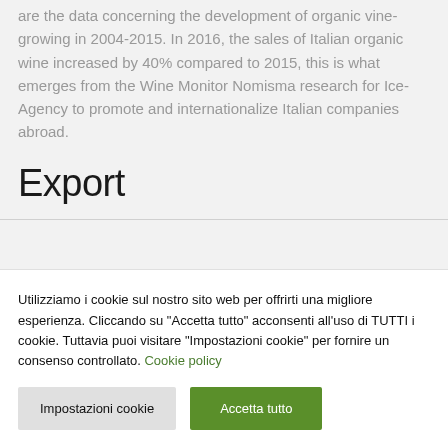are the data concerning the development of organic vine-growing in 2004-2015. In 2016, the sales of Italian organic wine increased by 40% compared to 2015, this is what emerges from the Wine Monitor Nomisma research for Ice-Agency to promote and internationalize Italian companies abroad.
Export
Utilizziamo i cookie sul nostro sito web per offrirti una migliore esperienza. Cliccando su "Accetta tutto" acconsenti all'uso di TUTTI i cookie. Tuttavia puoi visitare "Impostazioni cookie" per fornire un consenso controllato. Cookie policy